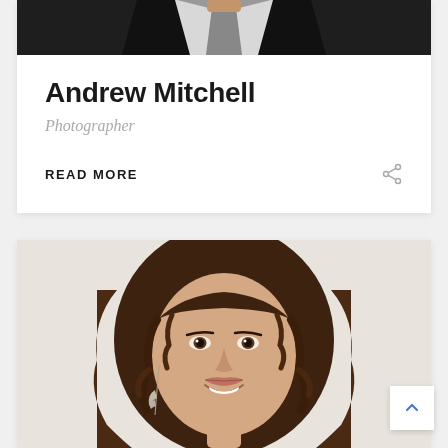[Figure (photo): Partial photo of a man in a dark suit and light shirt/tie, cropped to show only the upper torso area]
Andrew Mitchell
Photographer
READ MORE
[Figure (photo): Portrait photo of a young woman with curly brown hair, smiling, wearing feather earrings, photographed against a light background]